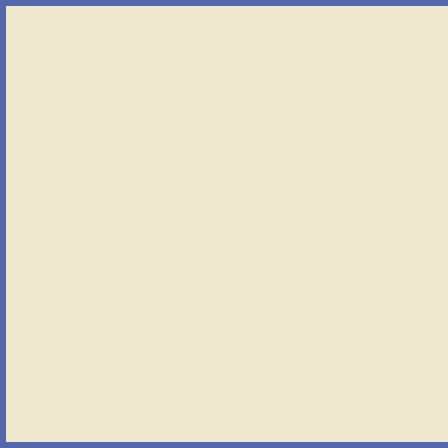[Figure (photo): Left panel: cream/beige textured background with blue border]
[Figure (photo): Product photo: High Country tripod in box packaging, pan head tripod]
Pan Head Tr...
[Figure (photo): Product photo: H-50B Camera compact tabletop tripod with 360° ball head, shown with hand for scale]
H-50B Came... Compact Tab... 360° Ball He...
[Figure (photo): Product photo: Velbon Victor tripod, adjustable with center column]
Velbon Victor... Adjustable W... Center Colum...
[Figure (photo): Product photo: Cartoni Focus fluid video head, ultra-light tripod head]
Cartoni Focu... Ultra-Light Tr...